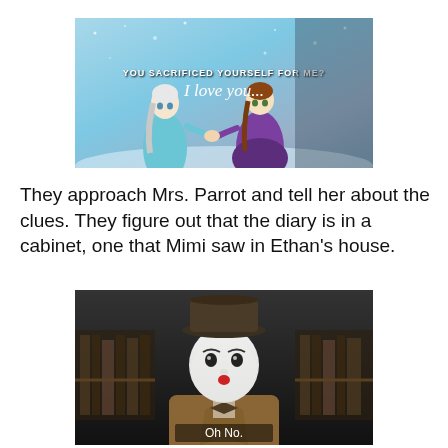[Figure (screenshot): Screenshot from the animated film Frozen showing characters Elsa and Anna holding hands. Text overlay reads: 'YOU SACRIFICED YOURSELF FOR ME?' and cursive text 'I love you...']
They approach Mrs. Parrot and tell her about the clues. They figure out that the diary is in a cabinet, one that Mimi saw in Ethan's house.
[Figure (screenshot): Screenshot showing a mime or clown-like character wearing a bowler hat, white face paint, bow tie, and tweed jacket. Subtitle text at bottom reads: 'Oh No.']